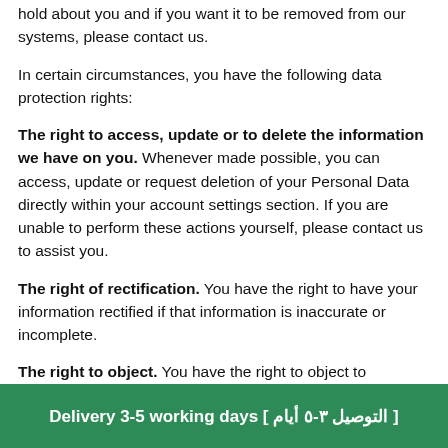hold about you and if you want it to be removed from our systems, please contact us.
In certain circumstances, you have the following data protection rights:
The right to access, update or to delete the information we have on you. Whenever made possible, you can access, update or request deletion of your Personal Data directly within your account settings section. If you are unable to perform these actions yourself, please contact us to assist you.
The right of rectification. You have the right to have your information rectified if that information is inaccurate or incomplete.
The right to object. You have the right to object to
Delivery 3-5 working days [ التوصيل ٣-٥ أيام ]